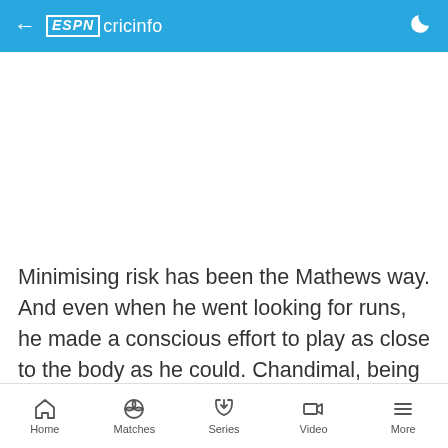ESPN cricinfo
[Figure (other): White blank image/advertisement area]
Minimising risk has been the Mathews way. And even when he went looking for runs, he made a conscious effort to play as close to the body as he could. Chandimal, being a slightly more adventurous player, chanced his arm a little more and was especially effective whenever the spinners dropped it short
Home  Matches  Series  Video  More